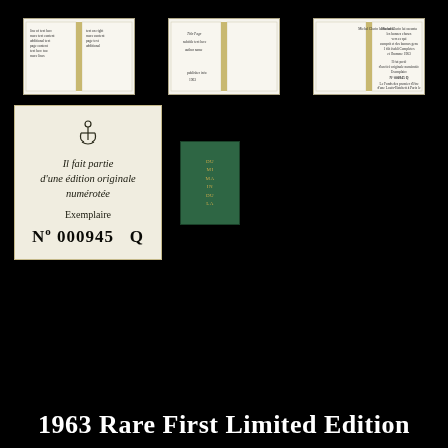[Figure (photo): Three photos of open book pages showing interior text pages, arranged in a row on black background]
[Figure (photo): Numbered edition card with anchor symbol, text 'Il fait partie d'une édition originale numérotée', 'Exemplaire', 'No 000945 Q']
[Figure (photo): Small green hardcover book with gold lettering on spine/cover]
1963 Rare First Limited Edition